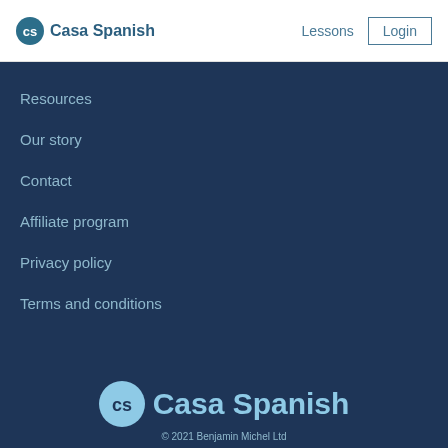Casa Spanish — Lessons | Login
Resources
Our story
Contact
Affiliate program
Privacy policy
Terms and conditions
Casa Spanish © 2021 Benjamin Michel Ltd